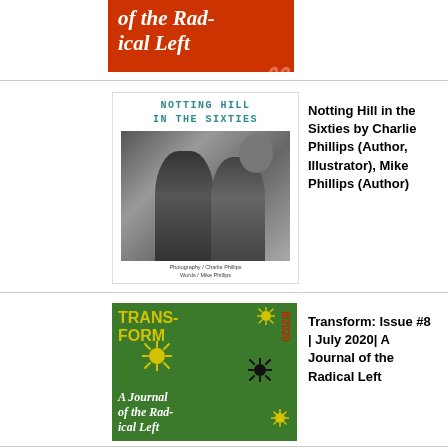[Figure (illustration): Partial view of Transform journal cover (red background, white italic text 'of the Radical Left') cropped at top of page]
[Figure (photo): Book cover of 'Notting Hill in the Sixties' showing title in teal text at top and a black-and-white photograph of two people embracing on the street, with 'Photography / Charlie Phillips / Words / Mike Phillips' text at bottom]
Notting Hill in the Sixties by Charlie Phillips (Author, Illustrator), Mike Phillips (Author)
[Figure (illustration): Book cover of Transform: Issue #8, July 2020 — A Journal of the Radical Left. Green background with yellow and black virus/coronavirus icons, yellow text 'TRANSFORM' and red '8/2020', white text 'A Journal of the Radical Left']
Transform: Issue #8 | July 2020| A Journal of the Radical Left